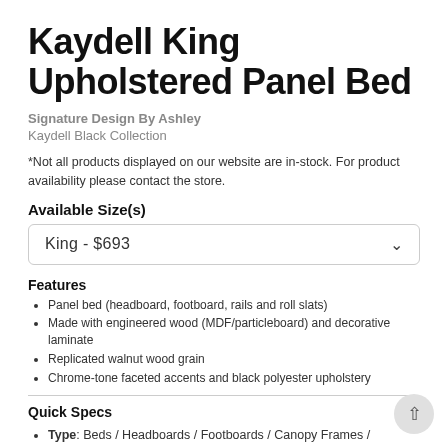Kaydell King Upholstered Panel Bed
Signature Design By Ashley
Kaydell Black Collection
*Not all products displayed on our website are in-stock. For product availability please contact the store.
Available Size(s)
King  -  $693
Features
Panel bed (headboard, footboard, rails and roll slats)
Made with engineered wood (MDF/particleboard) and decorative laminate
Replicated walnut wood grain
Chrome-tone faceted accents and black polyester upholstery
Quick Specs
Type: Beds / Headboards / Footboards / Canopy Frames / Rails